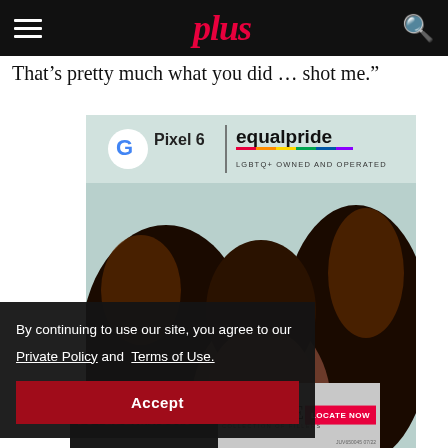plus
That’s pretty much what you did … shot me.”
[Figure (photo): Google Pixel 6 and equalpride (LGBTQ+ OWNED AND OPERATED) advertisement featuring a person with curly hair viewed from above/top of head]
By continuing to use our site, you agree to our
Private Policy and Terms of Use.
Accept
[Figure (advertisement): Juvederm advertisement: FIND A SPECIALIST AT JUVEDERM.COM | JUVEDERM COLLECTION OF FILLERS | LOCATE NOW]